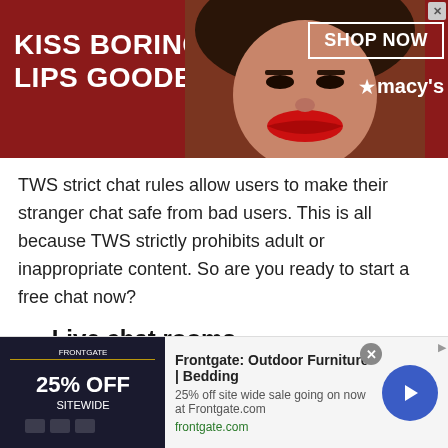[Figure (screenshot): Macy's advertisement banner: 'KISS BORING LIPS GOODBYE' with a woman's face and red lips, SHOP NOW button and Macy's star logo on dark red background]
TWS strict chat rules allow users to make their stranger chat safe from bad users. This is all because TWS strictly prohibits adult or inappropriate content. So are you ready to start a free chat now?
Live chat rooms
Do you love live chat or talk to strangers in Argentina in real-time? If yes, why don't you choose
[Figure (screenshot): Frontgate advertisement: Outdoor Furniture | Bedding. 25% off site wide sale going on now at Frontgate.com. frontgate.com]